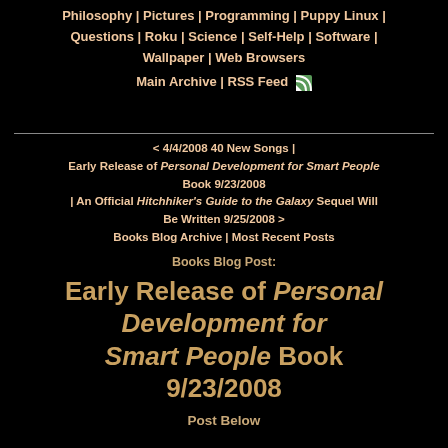Philosophy | Pictures | Programming | Puppy Linux | Questions | Roku | Science | Self-Help | Software | Wallpaper | Web Browsers
Main Archive | RSS Feed
< 4/4/2008 40 New Songs | Early Release of Personal Development for Smart People Book 9/23/2008 | An Official Hitchhiker's Guide to the Galaxy Sequel Will Be Written 9/25/2008 > Books Blog Archive | Most Recent Posts
Books Blog Post:
Early Release of Personal Development for Smart People Book 9/23/2008
Post Below